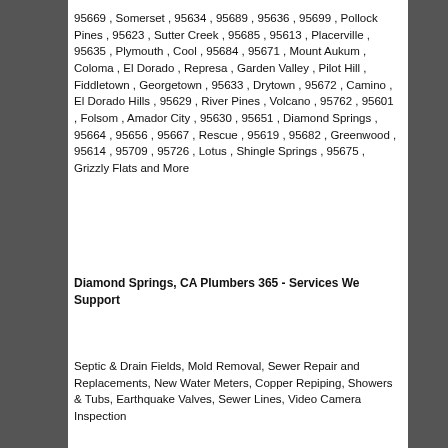95669 , Somerset , 95634 , 95689 , 95636 , 95699 , Pollock Pines , 95623 , Sutter Creek , 95685 , 95613 , Placerville , 95635 , Plymouth , Cool , 95684 , 95671 , Mount Aukum , Coloma , El Dorado , Represa , Garden Valley , Pilot Hill , Fiddletown , Georgetown , 95633 , Drytown , 95672 , Camino , El Dorado Hills , 95629 , River Pines , Volcano , 95762 , 95601 , Folsom , Amador City , 95630 , 95651 , Diamond Springs , 95664 , 95656 , 95667 , Rescue , 95619 , 95682 , Greenwood , 95614 , 95709 , 95726 , Lotus , Shingle Springs , 95675 , Grizzly Flats and More
Diamond Springs, CA Plumbers 365 - Services We Support
Septic & Drain Fields, Mold Removal, Sewer Repair and Replacements, New Water Meters, Copper Repiping, Showers & Tubs, Earthquake Valves, Sewer Lines, Video Camera Inspection